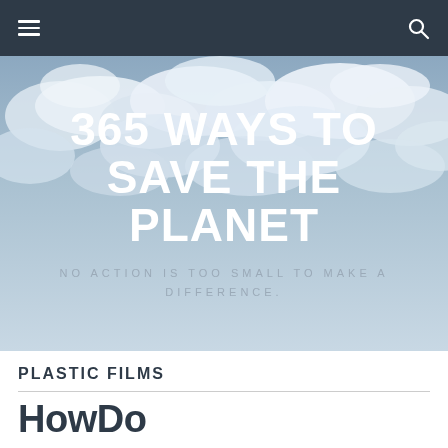Navigation bar with hamburger menu and search icon
[Figure (illustration): Hero banner with cloudy sky background, large white bold title '365 WAYS TO SAVE THE PLANET' and grey subtitle 'NO ACTION IS TOO SMALL TO MAKE A DIFFERENCE.']
365 WAYS TO SAVE THE PLANET
NO ACTION IS TOO SMALL TO MAKE A DIFFERENCE.
PLASTIC FILMS
HowDo...